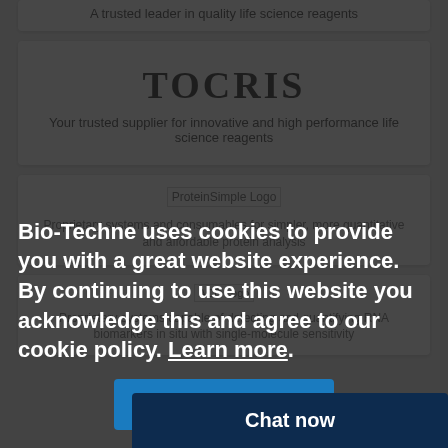A trusted leader in quality life science reagents
[Figure (logo): TOCRIS logo text in bold serif font]
Your trusted supplier for innovative and high performance life science reagents
[Figure (logo): ProteinSimple Logo image placeholder]
Proprietary systems and consumables for simpler, more quantitative and affordable protein analysis
[Figure (logo): ACD Logo image placeholder]
Proprietary systems capable of detecting and quantifying RNA biomarkers in situ with single-molecule sensitivity
Bio-Techne uses cookies to provide you with a great website experience. By continuing to use this website you acknowledge this and agree to our cookie policy. Learn more.
I Agree
Chat now